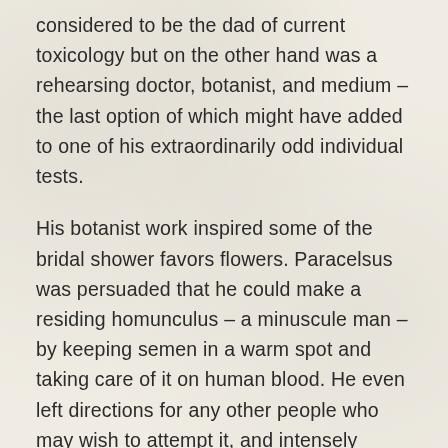considered to be the dad of current toxicology but on the other hand was a rehearsing doctor, botanist, and medium – the last option of which might have added to one of his extraordinarily odd individual tests.
His botanist work inspired some of the bridal shower favors flowers. Paracelsus was persuaded that he could make a residing homunculus – a minuscule man – by keeping semen in a warm spot and taking care of it on human blood. He even left directions for any other people who may wish to attempt it, and intensely accepted that this strategy was the beginning of wood sprites and monsters. Science might have been significantly less